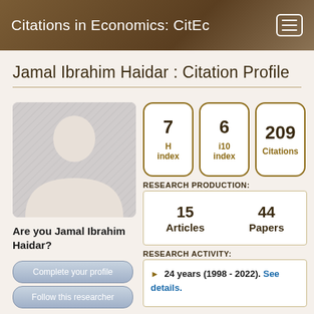Citations in Economics: CitEc
Jamal Ibrahim Haidar : Citation Profile
[Figure (illustration): Generic user silhouette placeholder avatar in grey]
7 H index
6 i10 index
209 Citations
RESEARCH PRODUCTION:
15 Articles   44 Papers
Are you Jamal Ibrahim Haidar?
Complete your profile
Follow this researcher
RESEARCH ACTIVITY:
24 years (1998 - 2022). See details.